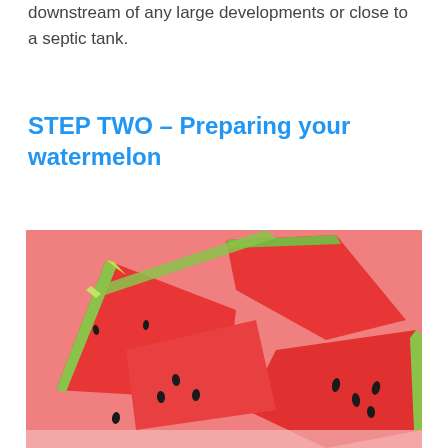downstream of any large developments or close to a septic tank.
STEP TWO – Preparing your watermelon
[Figure (photo): Close-up photo of multiple slices of watermelon with bright red flesh, green rind, and black seeds, arranged in a pile.]